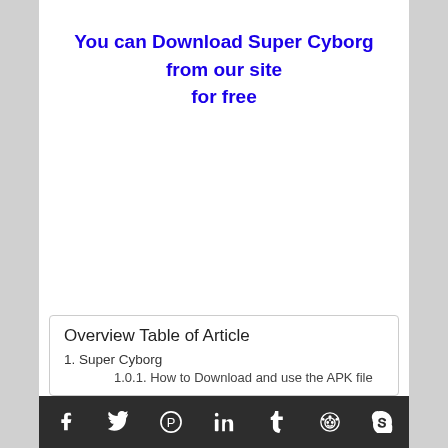You can Download Super Cyborg from our site for free
Overview Table of Article
1. Super Cyborg
1.0.1. How to Download and use the APK file
Social sharing bar: Facebook, Twitter, Pinterest, LinkedIn, Tumblr, Reddit, Skype